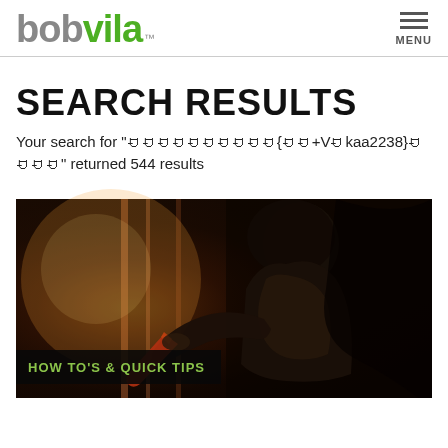bob vila™ — MENU
SEARCH RESULTS
Your search for "ꀀꀀꀀꀀꀀꀀꀀꀀꀀꀀ{ꀀꀀ+Vꀀkaa2238}ꀀꀀꀀꀀ" returned 544 results
[Figure (photo): Photo of a burglar in a dark hoodie and leather jacket using a tool to break into a door or window. Warm orange light from left. Dark, dramatic scene.]
HOW TO'S & QUICK TIPS